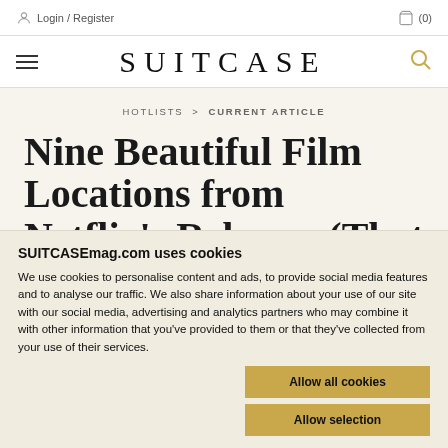Login / Register   (0)
SUITCASE
HOTLISTS > CURRENT ARTICLE
Nine Beautiful Film Locations from Netflix's Rebecca (That Yes, You
SUITCASEmag.com uses cookies
We use cookies to personalise content and ads, to provide social media features and to analyse our traffic. We also share information about your use of our site with our social media, advertising and analytics partners who may combine it with other information that you've provided to them or that they've collected from your use of their services.
Allow all cookies
Allow selection